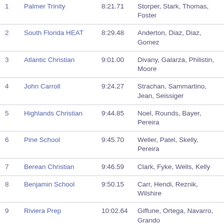| # | Team | Time | Swimmers |
| --- | --- | --- | --- |
| 1 | Palmer Trinity | 8:21.71 | Storper, Stark, Thomas, Foster |
| 2 | South Florida HEAT | 8:29.48 | Anderton, Diaz, Diaz, Gomez |
| 3 | Atlantic Christian | 9:01.00 | Divany, Galarza, Philistin, Moore |
| 4 | John Carroll | 9:24.27 | Strachan, Sammartino, Jean, Seissiger |
| 5 | Highlands Christian | 9:44.85 | Noel, Rounds, Bayer, Pereira |
| 6 | Pine School | 9:45.70 | Weller, Patel, Skelly, Pereira |
| 7 | Berean Christian | 9:46.59 | Clark, Fyke, Wells, Kelly |
| 8 | Benjamin School | 9:50.15 | Carr, Hendi, Reznik, Wilshire |
| 9 | Riviera Prep | 10:02.64 | Giffune, Ortega, Navarro, Grando |
| 10 | St. John Paul II | 10:22.05 | Apel, Croke, Crippa, Ruszkowski |
| 11 | Boca Raton Christian | 10:32.01 | Falkins, Adams, Ayotte, Ayotte |
| 12 | Marathon | 10:33.21 | Zapata, Buxton, Haven-Gault, Bonilla |
| 13 | Glades Day | 10:33.22 | Gilmore, Cabrera, Jordan, Thompson |